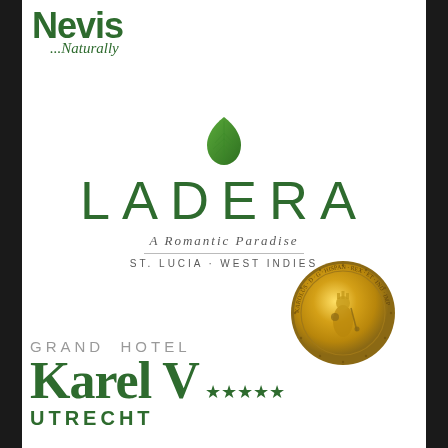[Figure (logo): Nevis Naturally logo in green, top-left corner]
[Figure (logo): Ladera resort logo with green leaf icon, text LADERA in spaced green letters, A Romantic Paradise, St. Lucia West Indies]
[Figure (photo): Gold coin with medieval king figure, Latin inscription around edge (KAROLUS D... HISPA...)]
[Figure (logo): Grand Hotel Karel V Utrecht logo with green text and star rating, bottom of page]